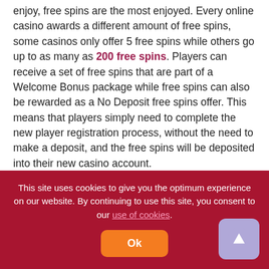enjoy, free spins are the most enjoyed. Every online casino awards a different amount of free spins, some casinos only offer 5 free spins while others go up to as many as 200 free spins. Players can receive a set of free spins that are part of a Welcome Bonus package while free spins can also be rewarded as a No Deposit free spins offer. This means that players simply need to complete the new player registration process, without the need to make a deposit, and the free spins will be deposited into their new casino account.
Top Minimum Free Spins Casinos
This site uses cookies to give you the optimum experience on our website. By continuing to use this site, you consent to our use of cookies.